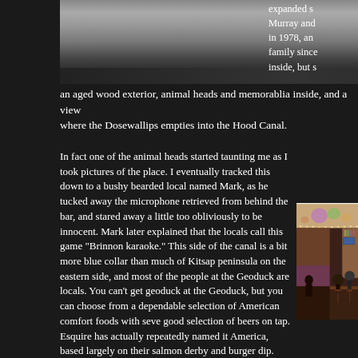[Figure (photo): Top portion of a wooden building exterior with dark roof/eave against a light sky, aged wood siding visible]
expanded s Murray and in 1978, an family since inside, but s
an aged wood exterior, animal heads and memorablia inside, and a view where the Dosewallips empties into the Hood Canal.
In fact one of the animal heads started taunting me as I took pictures of the place. I eventually tracked this down to a bushy bearded local named Mark, as he tucked away the microphone retrieved from behind the bar, and stared away a little too obliviously to be innocent. Mark later explained that the locals call this game "Brinnon karaoke." This side of the canal is a bit more blue collar than much of Kitsap peninsula on the eastern side, and most of the people at the Geoduck are locals. You can't get geoduck at the Geoduck, but you can choose from a dependable selection of American comfort foods with seve good selection of beers on tap. Esquire has actually repeatedly named it America, based largely on their salmon derby and burger dip.
[Figure (photo): Interior of a bar/tavern with string lights, bar stools, patrons seated at the bar, colorful lighting including purple and green]